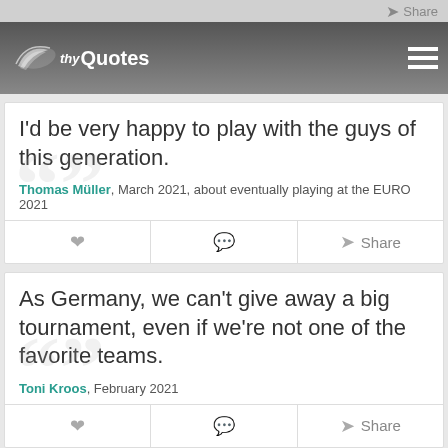thy Quotes
I'd be very happy to play with the guys of this generation.
Thomas Müller, March 2021, about eventually playing at the EURO 2021
As Germany, we can't give away a big tournament, even if we're not one of the favorite teams.
Toni Kroos, February 2021